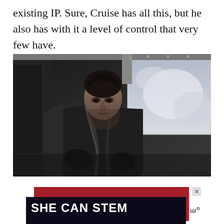existing IP. Sure, Cruise has all this, but he also has with it a level of control that very few have.
[Figure (photo): Black and white photo of Tom Cruise in dark clothing seated inside a vehicle, looking downward intensely, with a window visible behind him showing a snowy or bright background.]
[Figure (other): Advertisement banner with dark navy/black background and red accent bar, featuring bold white text reading 'SHE CAN STEM', with a close button (X) and a logo mark on the right.]